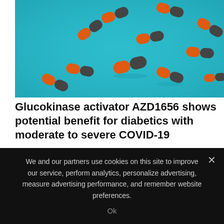[Figure (photo): Photo of orange and grey capsule pills scattered on a teal/blue surface]
Glucokinase activator AZD1656 shows potential benefit for diabetics with moderate to severe COVID-19
We and our partners use cookies on this site to improve our service, perform analytics, personalize advertising, measure advertising performance, and remember website preferences.
Ok